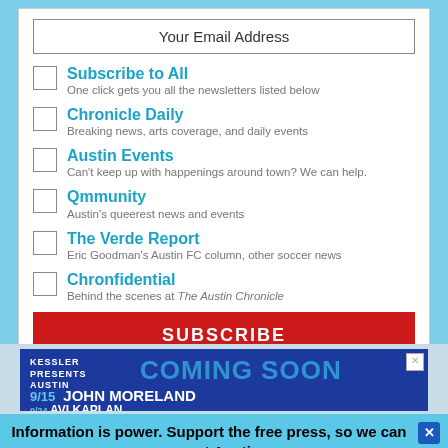Your Email Address
Subscribe to All — One click gets you all the newsletters listed below
Chronicle Daily — Breaking news, arts coverage, and daily events
Austin Events — Can't keep up with happenings around town? We can help.
Qmmunity — Austin's queerest news and events
The Verde Report — Eric Goodman's Austin FC column, other soccer news
Chronfidential — Behind the scenes at The Austin Chronicle
SUBSCRIBE
[Figure (infographic): Kessler Presents Austin advertisement showing 'COMING SOON' with event listings: 9/15 John Moreland with Lee Bains at Antone's, and 9/24 Avi Kaplan]
Information is power. Support the free press, so we can support Austin.
SUPPORT THE CHRONICLE →